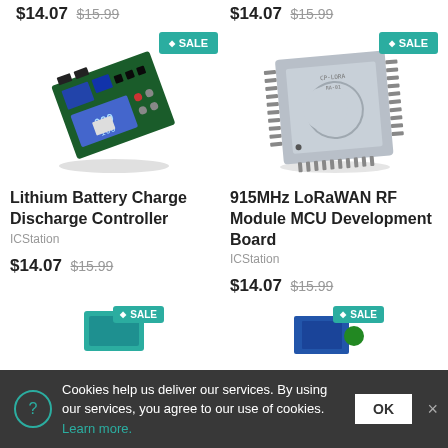$14.07 $15.99 (top-left, partially visible)
$14.07 $15.99 (top-right, partially visible)
[Figure (photo): Lithium Battery Charge Discharge Controller PCB module with LCD display, shown at an angle. SALE badge in top right.]
[Figure (photo): 915MHz LoRaWAN RF Module MCU Development Board, silver square chip. SALE badge in top right.]
Lithium Battery Charge Discharge Controller
ICStation
$14.07 $15.99
915MHz LoRaWAN RF Module MCU Development Board
ICStation
$14.07 $15.99
[Figure (photo): Partial product image bottom left with SALE badge.]
[Figure (photo): Partial product image bottom right with SALE badge.]
Cookies help us deliver our services. By using our services, you agree to our use of cookies. Learn more. OK